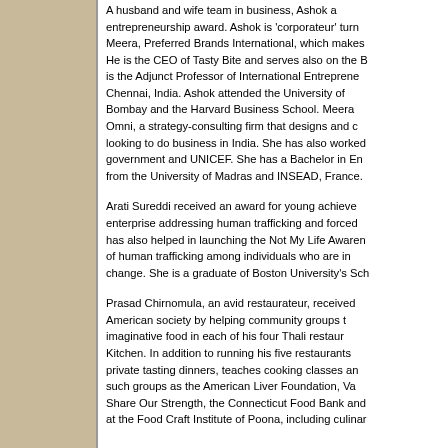A husband and wife team in business, Ashok and Meera received the entrepreneurship award. Ashok is 'corporateur' turned entrepreneur, and along with Meera, Preferred Brands International, which makes Tasty Bite foods. He is the CEO of Tasty Bite and serves also on the Board of his company, and is the Adjunct Professor of International Entrepreneurship at IIT in Chennai, India. Ashok attended the University of Bombay and the Harvard Business School. Meera runs a firm called Omni, a strategy-consulting firm that designs and overseas ventures for anyone looking to do business in India. She has also worked with the Indian government and UNICEF. She has a Bachelor in Engineering Sciences from the University of Madras and INSEAD, France.
Arati Sureddi received an award for young achievers. She runs a social enterprise addressing human trafficking and forced migration. Her organization has also helped in launching the Not My Life Awareness Campaign, an education of human trafficking among individuals who are in a position to create change. She is a graduate of Boston University's School of Management.
Prasad Chirnomula, an avid restaurateur, received an award for enriching American society by helping community groups to enjoy authentic and imaginative food in each of his four Thali restaurants and Thali Too and Kitchen. In addition to running his five restaurants, he also hosts private tasting dinners, teaches cooking classes and donates to community groups such groups as the American Liver Foundation, Va Ct chapter of Share Our Strength, the Connecticut Food Bank and others. He trained at the Food Craft Institute of Poona, including culinary art.